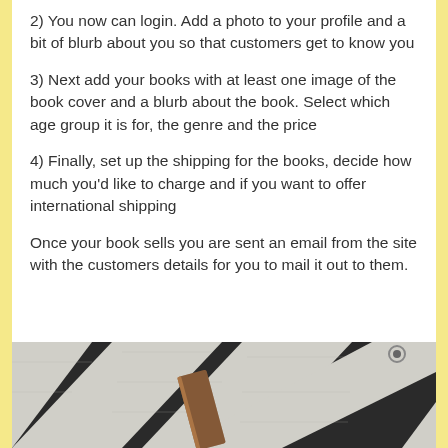2) You now can login. Add a photo to your profile and a bit of blurb about you so that customers get to know you
3) Next add your books with at least one image of the book cover and a blurb about the book. Select which age group it is for, the genre and the price
4) Finally, set up the shipping for the books, decide how much you'd like to charge and if you want to offer international shipping
Once your book sells you are sent an email from the site with the customers details for you to mail it out to them.
[Figure (photo): A photo of books on a black and white diagonal striped surface, with a brown book spine visible in the foreground.]